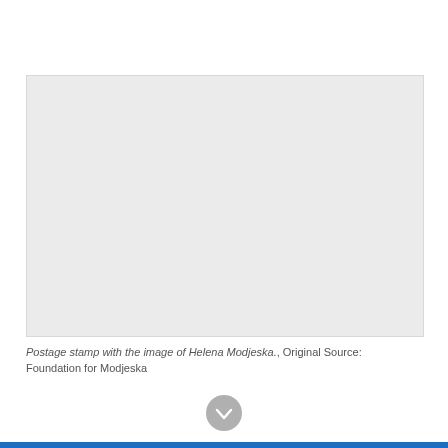[Figure (photo): A postage stamp image placeholder showing a light gray rectangle, representing the image of Helena Modjeska.]
Postage stamp with the image of Helena Modjeska., Original Source: Foundation for Modjeska